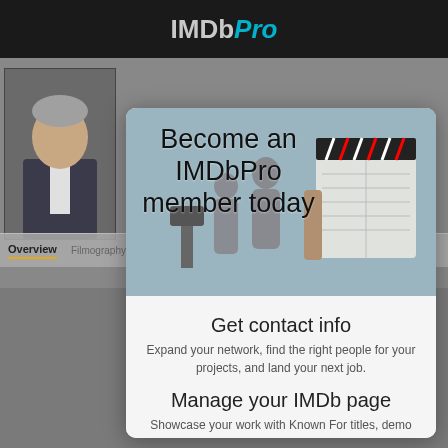IMDbPro
[Figure (screenshot): Background screenshot of IMDb Pro person page with navigation tabs (Overview, Filmography, Contacts, Network, About) and a person photo]
[Figure (infographic): Modal overlay with 'Become an IMDbPro member today' banner with film crew background image]
Get contact info
Expand your network, find the right people for your projects, and land your next job.
Manage your IMDb page
Showcase your work with Known For titles, demo reels, featured images, and more.
Access exclusive content
Explore in-development titles, box office data, and industry rankings not available on IMDb.